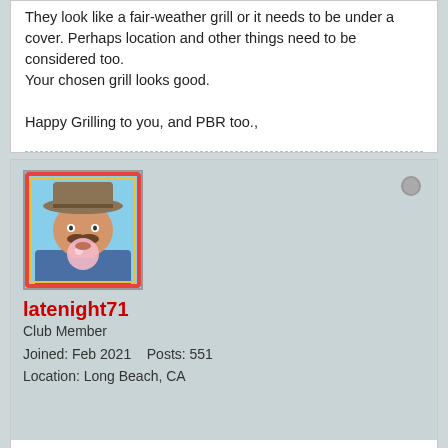They look like a fair-weather grill or it needs to be under a cover. Perhaps location and other things need to be considered too.
Your chosen grill looks good.

Happy Grilling to you, and PBR too.,
[Figure (photo): Avatar image of a man wearing a cowboy hat blowing a bubble gum bubble, illustrated art style with colorful background]
latenight71
Club Member
Joined: Feb 2021    Posts: 551
Location: Long Beach, CA
May 6, 2021, 12:02 PM
Top | #3
That seems pretty affordable comparable to others I've seen but it's only 1/8" steel and the cooking grate doesn't look so sturdy.